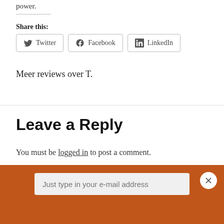power.
Share this:
[Figure (other): Social share buttons: Twitter, Facebook, LinkedIn]
Meer reviews over T.
Leave a Reply
You must be logged in to post a comment.
[Figure (other): Orange subscription bar with email input field and close button]